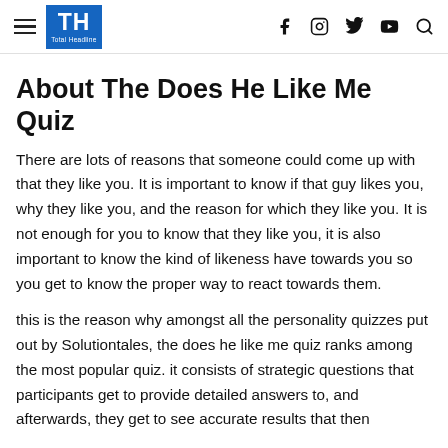TH Total Headline [nav icons: f, instagram, twitter, youtube, search]
About The Does He Like Me Quiz
There are lots of reasons that someone could come up with that they like you. It is important to know if that guy likes you, why they like you, and the reason for which they like you. It is not enough for you to know that they like you, it is also important to know the kind of likeness have towards you so you get to know the proper way to react towards them.
this is the reason why amongst all the personality quizzes put out by Solutiontales, the does he like me quiz ranks among the most popular quiz. it consists of strategic questions that participants get to provide detailed answers to, and afterwards, they get to see accurate results that then